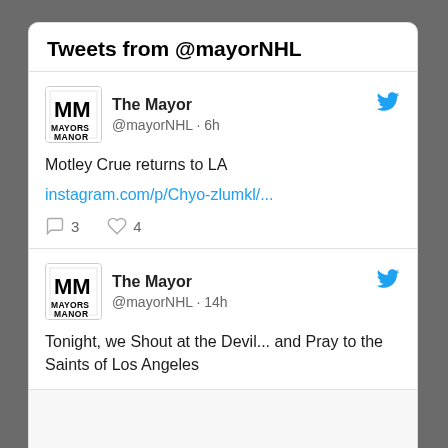Tweets from @mayorNHL
The Mayor
@mayorNHL · 6h
Motley Crue returns to LA
instagram.com/p/Chyo-zlumkl/...
3  4
The Mayor
@mayorNHL · 14h
Tonight, we Shout at the Devil... and Pray to the Saints of Los Angeles